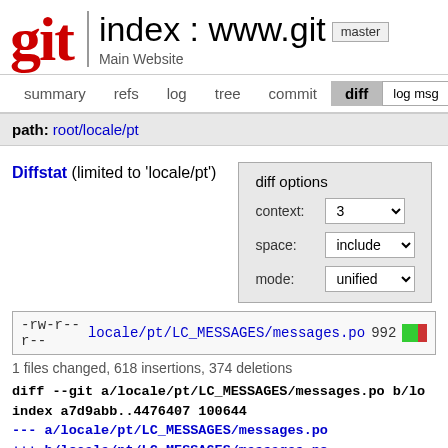git index : www.git master
Main Website
summary  refs  log  tree  commit  diff  log msg
path: root/locale/pt
Diffstat (limited to 'locale/pt')
diff options
context: 3
space: include
mode: unified
-rw-r--r-- locale/pt/LC_MESSAGES/messages.po 992
1 files changed, 618 insertions, 374 deletions
diff --git a/locale/pt/LC_MESSAGES/messages.po b/lo
index a7d9abb..4476407 100644
--- a/locale/pt/LC_MESSAGES/messages.po
+++ b/locale/pt/LC_MESSAGES/messages.po
@@ -6,7 +6,7 @@ msgid ""
msgstr ""